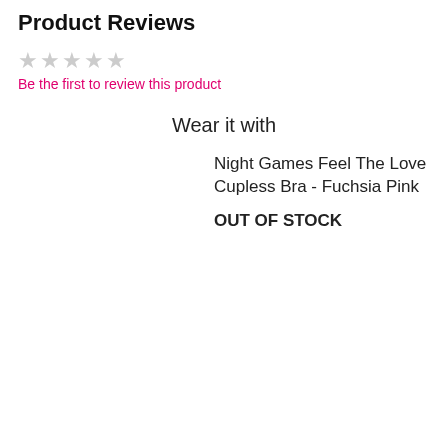Product Reviews
[Figure (other): Five empty/unrated star icons in gray]
Be the first to review this product
Wear it with
[Figure (photo): Broken image placeholder: Night Games Feel The Love Cupless Bra - Fuchsia Pink]
Night Games Feel The Love Cupless Bra - Fuchsia Pink
OUT OF STOCK
[Figure (photo): Broken image placeholder: Night Games Feel The Love (second product, partially visible)]